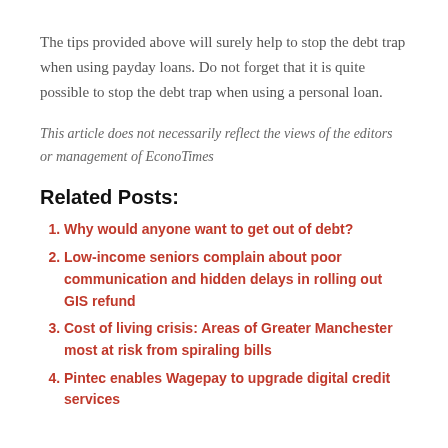The tips provided above will surely help to stop the debt trap when using payday loans. Do not forget that it is quite possible to stop the debt trap when using a personal loan.
This article does not necessarily reflect the views of the editors or management of EconoTimes
Related Posts:
Why would anyone want to get out of debt?
Low-income seniors complain about poor communication and hidden delays in rolling out GIS refund
Cost of living crisis: Areas of Greater Manchester most at risk from spiraling bills
Pintec enables Wagepay to upgrade digital credit services